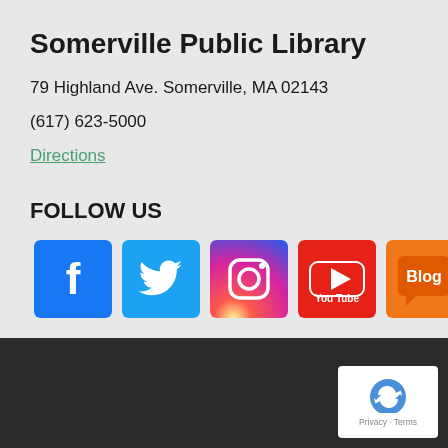Somerville Public Library
79 Highland Ave. Somerville, MA 02143
(617) 623-5000
Directions
FOLLOW US
[Figure (infographic): Row of 7 social media icons: Facebook (blue), Twitter (light blue), Instagram (gradient pink/purple/orange), YouTube (red), Blog (orange speech bubble), Flickr (white with blue and pink dots), TikTok (white with black TikTok logo)]